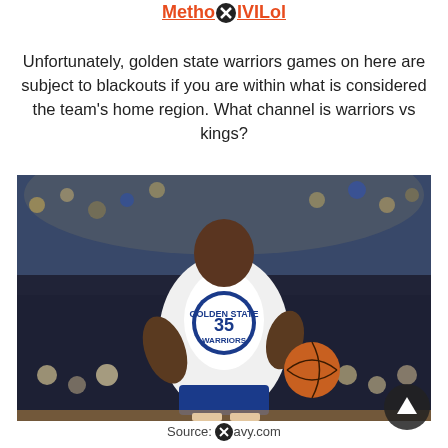Method IVILol
Unfortunately, golden state warriors games on here are subject to blackouts if you are within what is considered the team's home region. What channel is warriors vs kings?
[Figure (photo): Basketball player wearing Golden State Warriors jersey number 35 (Kevin Durant) dribbling a basketball, with crowd in background]
Source: navy.com